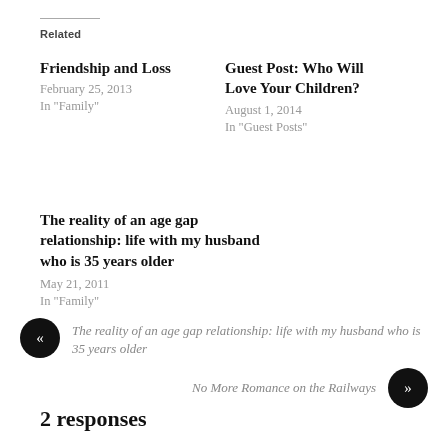Related
Friendship and Loss
February 25, 2013
In "Family"
Guest Post: Who Will Love Your Children?
August 1, 2014
In "Guest Posts"
The reality of an age gap relationship: life with my husband who is 35 years older
May 21, 2011
In "Family"
« The reality of an age gap relationship: life with my husband who is 35 years older
No More Romance on the Railways »
2 responses